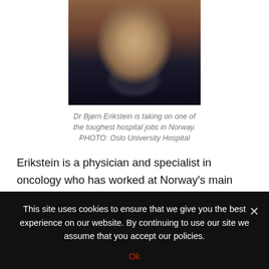[Figure (photo): Portrait photo of Dr Bjørn Erikstein, an older man with grey beard wearing a dark suit and dark red tie, seated at a table in what appears to be a formal setting]
Dr Bjørn Erikstein is taking on one of the toughest hospital jobs in Norway. PHOTO: Oslo University Hospital
Erikstein is a physician and specialist in oncology who has worked at Norway's main cancer hospital, Radiumhospitalet, and the country's largest hospital, Ullevål, both of which are involved in the merger that's caused so much controversy and many demonstrations and complaints. Erikstein most
This site uses cookies to ensure that we give you the best experience on our website. By continuing to use our site we assume that you accept our policies.
Ok